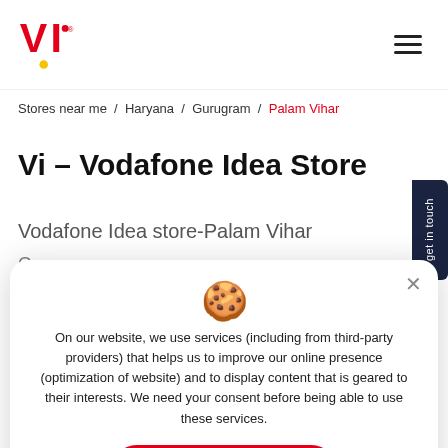[Figure (logo): Vi (Vodafone Idea) logo — red VI with exclamation and yellow dot]
Stores near me / Haryana / Gurugram / Palam Vihar
Vi – Vodafone Idea Store
Vodafone Idea store-Palam Vihar
On our website, we use services (including from third-party providers) that helps us to improve our online presence (optimization of website) and to display content that is geared to their interests. We need your consent before being able to use these services.
Okay, Thanks